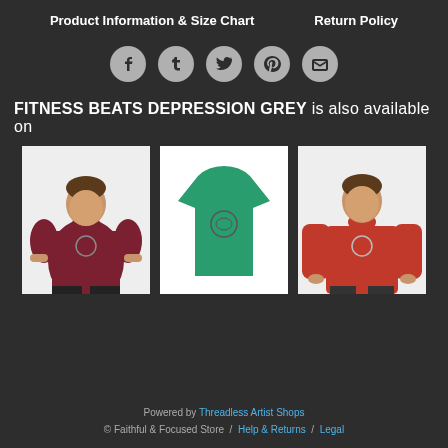Product Information & Size Chart   Return Policy
[Figure (other): Social media share icons: Facebook, Tumblr, Twitter, Pinterest, Email - circular grey buttons]
FITNESS BEATS DEPRESSION GREY is also available on
[Figure (photo): Three product images: a man wearing a dark red/maroon t-shirt, a green t-shirt on white background, and a man wearing a red long-sleeve shirt]
Powered by Threadless Artist Shops © Faithful & Focused Store / Help & Returns / Legal